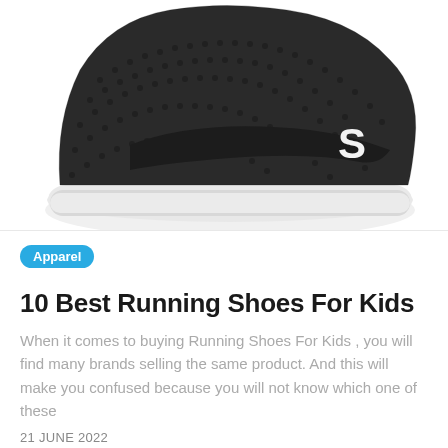[Figure (photo): Black mesh running shoe with white sole and white logo strap, cropped top view on white background]
Apparel
10 Best Running Shoes For Kids
When it comes to buying Running Shoes For Kids , you will find many brands selling the same product. And this will make you confused because you will not know which one of these
21 JUNE 2022
[Figure (photo): Person wearing black cargo work pants with gray knee pads, cropped to show lower torso and legs]